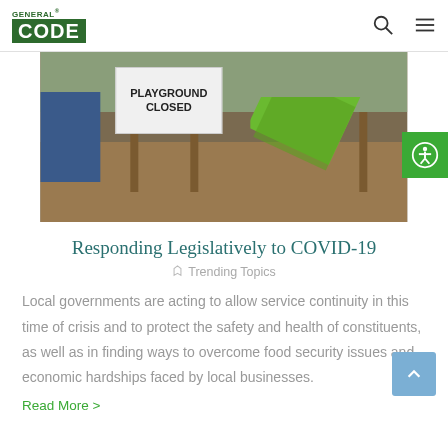GENERAL CODE — navigation header with search and menu icons
[Figure (photo): Playground with a 'PLAYGROUND CLOSED' sign and green slide in background, outdoor setting with wood chips]
Responding Legislatively to COVID-19
Trending Topics
Local governments are acting to allow service continuity in this time of crisis and to protect the safety and health of constituents, as well as in finding ways to overcome food security issues and economic hardships faced by local businesses.
Read More >